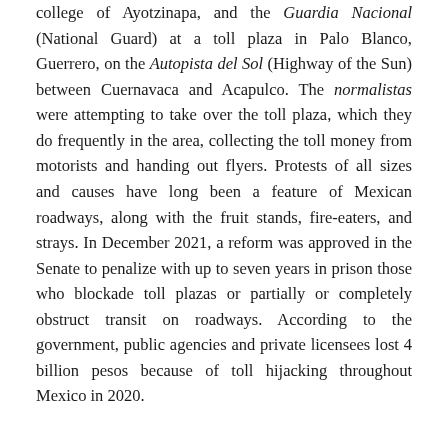college of Ayotzinapa, and the Guardia Nacional (National Guard) at a toll plaza in Palo Blanco, Guerrero, on the Autopista del Sol (Highway of the Sun) between Cuernavaca and Acapulco. The normalistas were attempting to take over the toll plaza, which they do frequently in the area, collecting the toll money from motorists and handing out flyers. Protests of all sizes and causes have long been a feature of Mexican roadways, along with the fruit stands, fire-eaters, and strays. In December 2021, a reform was approved in the Senate to penalize with up to seven years in prison those who blockade toll plazas or partially or completely obstruct transit on roadways. According to the government, public agencies and private licensees lost 4 billion pesos because of toll hijacking throughout Mexico in 2020.